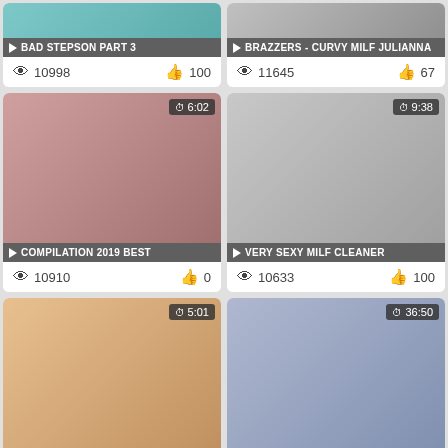[Figure (screenshot): Video thumbnail grid showing adult video website with 6 video cards. Top row: 'BAD STEPSON PART 3' with 10998 views and 100 likes; 'BRAZZERS - CURVY MILF JULIANNA' with 11645 views and 67 likes. Middle row: 'COMPILATION 2019 BEST' 6:02 duration, 10910 views, 0 likes; 'VERY SEXY MILF CLEANER' 9:38 duration, 10633 views, 100 likes. Bottom row: 'MY WIFE INSISTED THAT I COME' 5:01 duration, 10769 views, 100 likes; 'MY STEPSON HAS FUCKING BIG' 36:50 duration, 10709 views, 71 likes. Partial bottom row visible.]